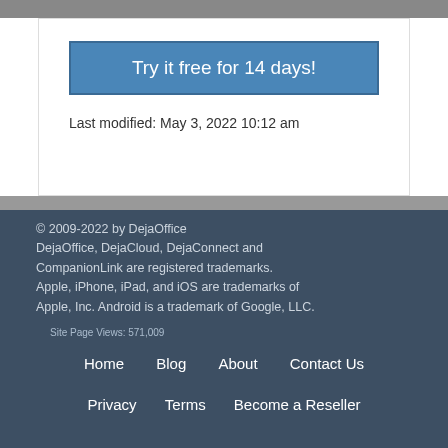Try it free for 14 days!
Last modified: May 3, 2022 10:12 am
© 2009-2022 by DejaOffice DejaOffice, DejaCloud, DejaConnect and CompanionLink are registered trademarks. Apple, iPhone, iPad, and iOS are trademarks of Apple, Inc. Android is a trademark of Google, LLC.
Site Page Views: 571,009
Home
Blog
About
Contact Us
Privacy
Terms
Become a Reseller